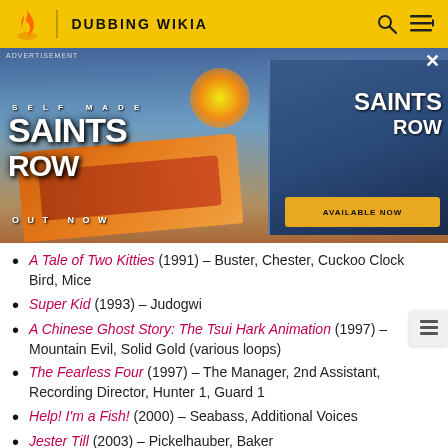DUBBING WIKIA
[Figure (photo): Saints Row video game advertisement banner showing game artwork with characters, vehicles, explosions. Text reads 'SELF MADE SAINTS ROW OUT NOW'. A secondary panel shows Saints Row 'AVAILABLE NOW'. Advertisement label in top left, X close button top right.]
A Tale of Two Kitties (1991) – Buster, Chester, Cuckoo Clock Bird, Mice
Super Kid (1993) – Judogwi
A Chinese Ghost Story: The Tsui Hark Animation (1997) – Mountain Evil, Solid Gold (various loops)
The Fearless Four (1997) – The Manager, 2nd Assistant, Recording Director, Hunter 1, Guard 1
Help! I'm a Fish! (2000) – Seabass, Additional Voices
Jester Till (2003) – Pickelhauber, Baker